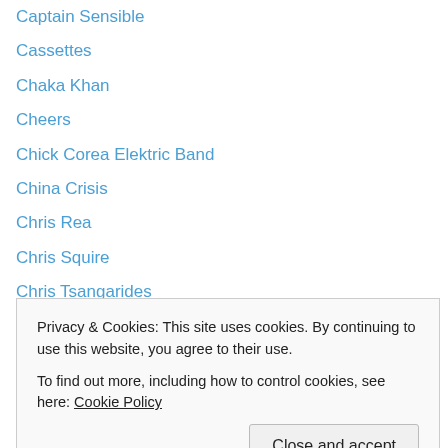Captain Sensible
Cassettes
Chaka Khan
Cheers
Chick Corea Elektric Band
China Crisis
Chris Rea
Chris Squire
Chris Tsangarides
Christmas Songs
Clarke/Duke Project
Classic Rock
Claudia Brucken
Privacy & Cookies: This site uses cookies. By continuing to use this website, you agree to their use. To find out more, including how to control cookies, see here: Cookie Policy
Close and accept